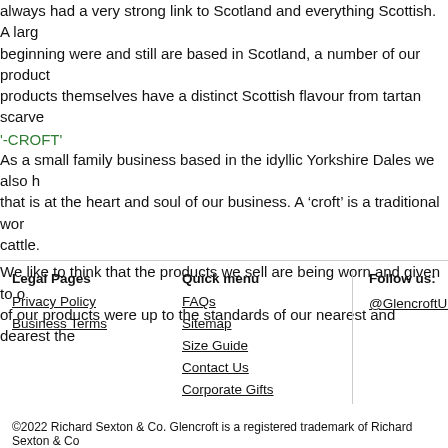always had a very strong link to Scotland and everything Scottish. A large number of our team from the beginning were and still are based in Scotland, a number of our product suppliers are Scottish and many of our products themselves have a distinct Scottish flavour from tartan scarves
'-CROFT'
As a small family business based in the idyllic Yorkshire Dales we also have a strong family values ethos that is at the heart and soul of our business. A ‘croft’ is a traditional working farm for raising sheep and cattle.
We like to think that the products we sell are being worn and given to our customers who would want all of our products were up to the standards of our nearest and dearest the
Legal Pages
Quick menu
Privacy Policy
Business Terms
FAQs
Sitemap
Size Guide
Contact Us
Corporate Gifts
Follow us:
@GlencroftUK
©2022 Richard Sexton & Co. Glencroft is a registered trademark of Richard Sexton & Co